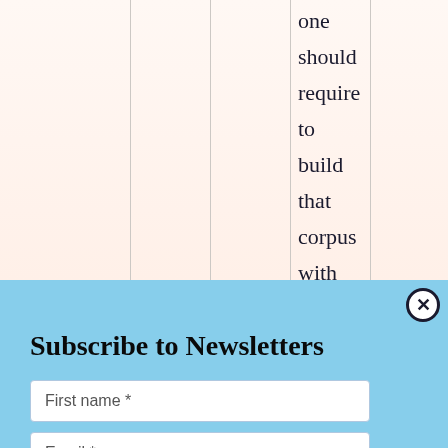one should require to build that corpus with same
Subscribe to Newsletters
First name *
Email *